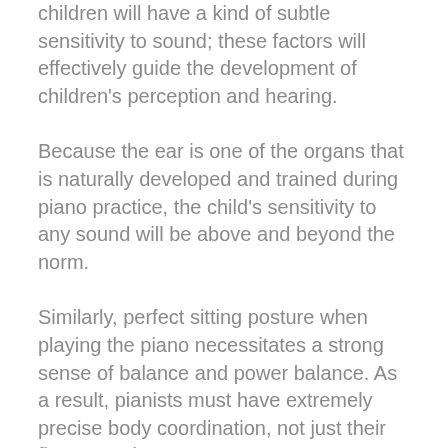children will have a kind of subtle sensitivity to sound; these factors will effectively guide the development of children's perception and hearing.
Because the ear is one of the organs that is naturally developed and trained during piano practice, the child's sensitivity to any sound will be above and beyond the norm.
Similarly, perfect sitting posture when playing the piano necessitates a strong sense of balance and power balance. As a result, pianists must have extremely precise body coordination, not just their fingers and arms.
By practicing the piano...